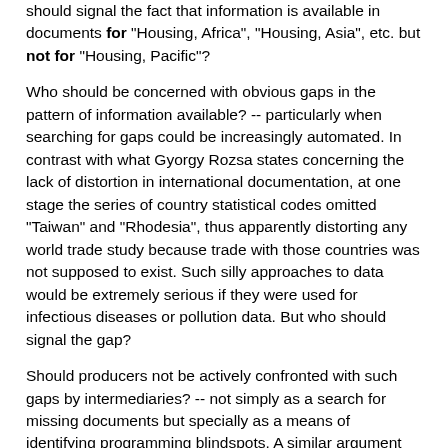should signal the fact that information is available in documents for "Housing, Africa", "Housing, Asia", etc. but not for "Housing, Pacific"?
Who should be concerned with obvious gaps in the pattern of information available? -- particularly when searching for gaps could be increasingly automated. In contrast with what Gyorgy Rozsa states concerning the lack of distortion in international documentation, at one stage the series of country statistical codes omitted "Taiwan" and "Rhodesia", thus apparently distorting any world trade study because trade with those countries was not supposed to exist. Such silly approaches to data would be extremely serious if they were used for infectious diseases or pollution data. But who should signal the gap?
Should producers not be actively confronted with such gaps by intermediaries? -- not simply as a search for missing documents but specially as a means of identifying programming blindspots. A similar argument could be given for information just "beyond" the frontier of a producer agency's subject mandate. Who assists the agency to determine what information is relevant and should be "imported" (or exported) across this frontier? To what extent can it be done by automated "massaging" of the subject category data base? If not, why not, and who else should have this responsibility?